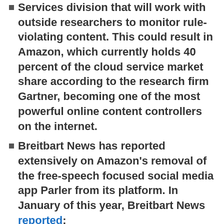Services division that will work with outside researchers to monitor rule-violating content. This could result in Amazon, which currently holds 40 percent of the cloud service market share according to the research firm Gartner, becoming one of the most powerful online content controllers on the internet.
Breitbart News has reported extensively on Amazon's removal of the free-speech focused social media app Parler from its platform. In January of this year, Breitbart News reported:
Source: breitbart.com
Another FBI Manufactured and Funded Operation in the